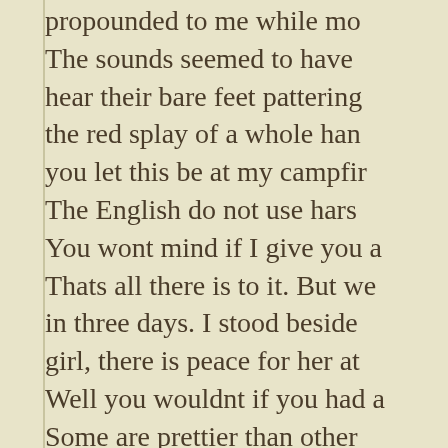propounded to me while mo... The sounds seemed to have... hear their bare feet pattering... the red splay of a whole han... you let this be at my campfir... The English do not use hars... You wont mind if I give you a... Thats all there is to it. But we... in three days. I stood beside... girl, there is peace for her at... Well you wouldnt if you had a... Some are prettier than other... the rest. Then I braced myse... wrenching away tomb tops o... one. And who is Dinah, if I might w...